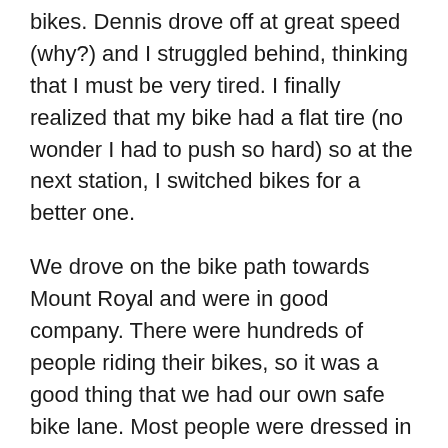bikes. Dennis drove off at great speed (why?) and I struggled behind, thinking that I must be very tired. I finally realized that my bike had a flat tire (no wonder I had to push so hard) so at the next station, I switched bikes for a better one.
We drove on the bike path towards Mount Royal and were in good company. There were hundreds of people riding their bikes, so it was a good thing that we had our own safe bike lane. Most people were dressed in business clothes.
We eventually got to the bottom of Mount Royal and were going to turn our bikes in and walk up to the top but the station was full of bikes. This was a good thing because it is a long way up! We drove and drove up the mountain (hill?) and it just about did us in as the Bixi bikes only have